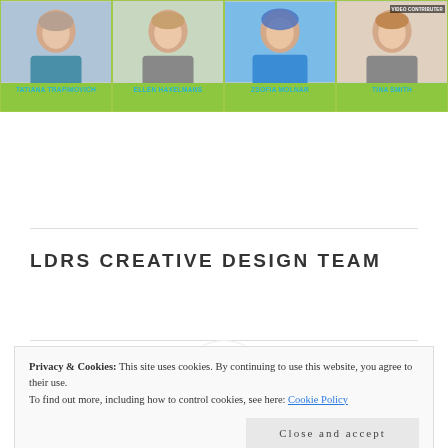[Figure (photo): Design team banner showing four member photos on green background: Tatiana Trafimovich, Ellen Haxelmans, Zsofia Molnar, and Tina Smith (Video Contributer)]
LDRS CREATIVE DESIGN TEAM
[Figure (logo): LDRS Creative logo in a white circle]
Privacy & Cookies: This site uses cookies. By continuing to use this website, you agree to their use.
To find out more, including how to control cookies, see here: Cookie Policy
Close and accept